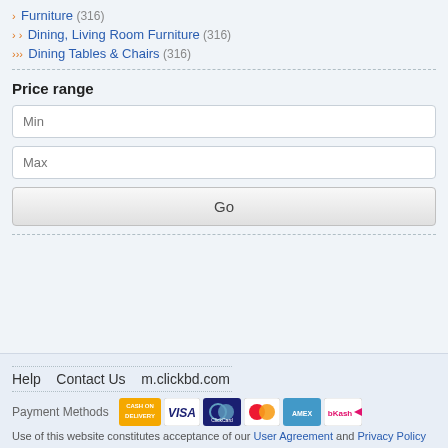Furniture (316)
Dining, Living Room Furniture (316)
Dining Tables & Chairs (316)
Price range
Min
Max
Go
Help   Contact Us   m.clickbd.com
Payment Methods
Use of this website constitutes acceptance of our User Agreement and Privacy Policy